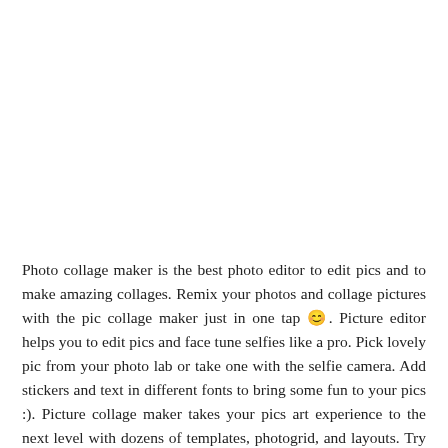Photo collage maker is the best photo editor to edit pics and to make amazing collages. Remix your photos and collage pictures with the pic collage maker just in one tap 😊. Picture editor helps you to edit pics and face tune selfies like a pro. Pick lovely pic from your photo lab or take one with the selfie camera. Add stickers and text in different fonts to bring some fun to your pics :). Picture collage maker takes your pics art experience to the next level with dozens of templates, photogrid, and layouts. Try stylish collage layouts and frames, then share your artwork on Instagram, Facebook, Snapchat, Twitter, VK and Tik Tok :).